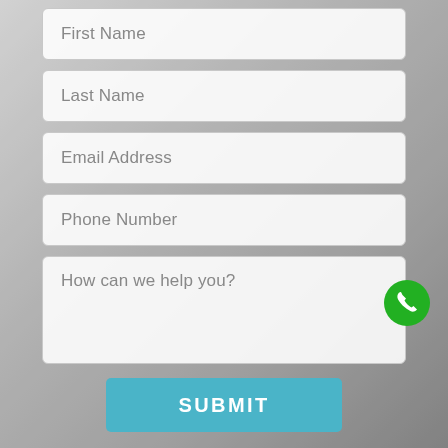[Figure (screenshot): Web contact form with fields for First Name, Last Name, Email Address, Phone Number, a textarea for How can we help you?, a green phone button, and a teal SUBMIT button, overlaid on a blurred grayscale background of a person.]
First Name
Last Name
Email Address
Phone Number
How can we help you?
SUBMIT